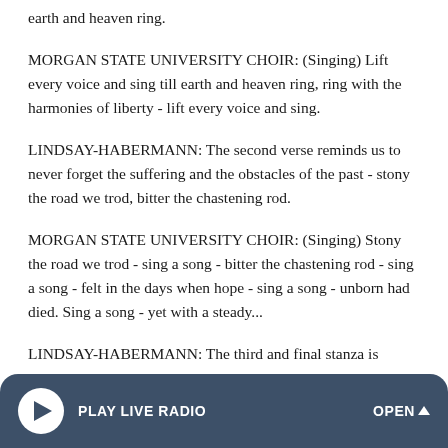earth and heaven ring.
MORGAN STATE UNIVERSITY CHOIR: (Singing) Lift every voice and sing till earth and heaven ring, ring with the harmonies of liberty - lift every voice and sing.
LINDSAY-HABERMANN: The second verse reminds us to never forget the suffering and the obstacles of the past - stony the road we trod, bitter the chastening rod.
MORGAN STATE UNIVERSITY CHOIR: (Singing) Stony the road we trod - sing a song - bitter the chastening rod - sing a song - felt in the days when hope - sing a song - unborn had died. Sing a song - yet with a steady...
LINDSAY-HABERMANN: The third and final stanza is
[Figure (other): Radio player bar at bottom with play button, PLAY LIVE RADIO label, and OPEN with caret]